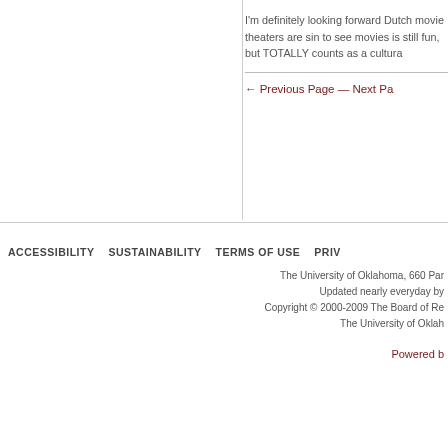I'm definitely looking forward Dutch movie theaters are sin to see movies is still fun, but TOTALLY counts as a cultura
← Previous Page — Next Pa
ACCESSIBILITY   SUSTAINABILITY   TERMS OF USE   PRIV
The University of Oklahoma, 660 Par
Updated nearly everyday by
Copyright © 2000-2009 The Board of Re
The University of Oklah
Powered b